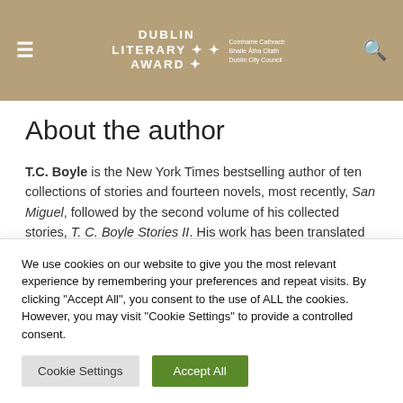Dublin Literary Award | Comhairle Cathrach Bhaile Átha Cliath Dublin City Council
About the author
T.C. Boyle is the New York Times bestselling author of ten collections of stories and fourteen novels, most recently, San Miguel, followed by the second volume of his collected stories, T. C. Boyle Stories II. His work has been translated into twenty-five languages and won a PEN/Faulkner Award for Fiction. He is a member of the Academy of Arts and Letters and lives in
We use cookies on our website to give you the most relevant experience by remembering your preferences and repeat visits. By clicking "Accept All", you consent to the use of ALL the cookies. However, you may visit "Cookie Settings" to provide a controlled consent.